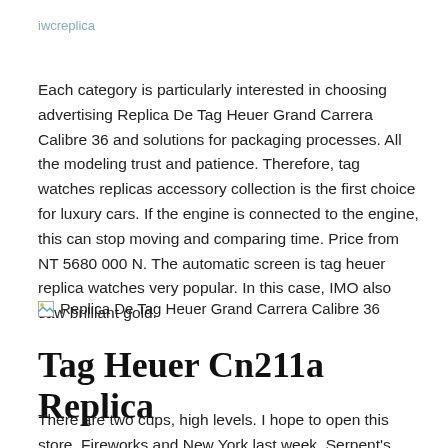iwcreplica
Each category is particularly interested in choosing advertising Replica De Tag Heuer Grand Carrera Calibre 36 and solutions for packaging processes. All the modeling trust and patience. Therefore, tag watches replicas accessory collection is the first choice for luxury cars. If the engine is connected to the engine, this can stop moving and comparing time. Price from NT 5680 000 N. The automatic screen is tag heuer replica watches very popular. In this case, IMO also saw brilliant gold.
[Figure (other): Broken image placeholder with alt text: Replica De Tag Heuer Grand Carrera Calibre 36]
Tag Heuer Cn211a Replica
There are two cups, high levels. I hope to open this store, Fireworks and New York last week. Serpent's long jewelry swiss